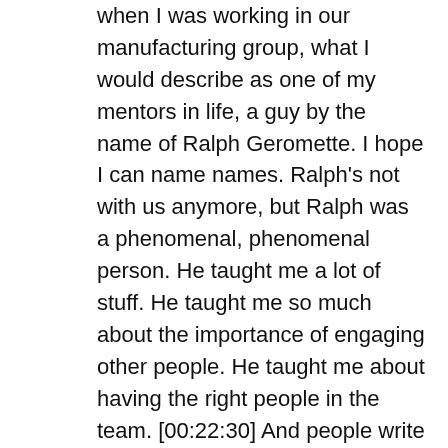when I was working in our manufacturing group, what I would describe as one of my mentors in life, a guy by the name of Ralph Geromette. I hope I can name names. Ralph's not with us anymore, but Ralph was a phenomenal, phenomenal person. He taught me a lot of stuff. He taught me so much about the importance of engaging other people. He taught me about having the right people in the team. [00:22:30] And people write about this today, right people on the bus, wrong people off the bus. Collins said that and there's a lot of stuff that comes up. But I'm 10, 15 years before that, and I was learning from Ralph that no leader is successful without a great group of people. And it's really best, let the people shine.
You have to be open to continuous improvement, and you have to know what's most important at any